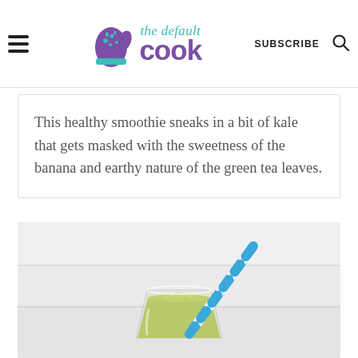the default cook — SUBSCRIBE [search icon]
This healthy smoothie sneaks in a bit of kale that gets masked with the sweetness of the banana and earthy nature of the green tea leaves.
[Figure (photo): A glass of green smoothie with a blue and white striped paper straw, photographed on a white wooden surface background.]